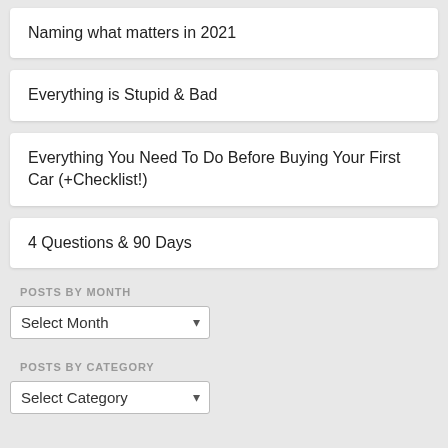Naming what matters in 2021
Everything is Stupid & Bad
Everything You Need To Do Before Buying Your First Car (+Checklist!)
4 Questions & 90 Days
POSTS BY MONTH
Select Month
POSTS BY CATEGORY
Select Category